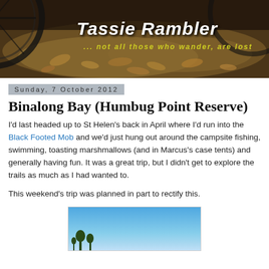[Figure (photo): Blog header banner photo showing a forest floor covered in dry leaves with a bicycle wheel visible on the left, overlaid with the blog title 'Tassie Rambler' and subtitle '... not all those who wander, are lost']
Sunday, 7 October 2012
Binalong Bay (Humbug Point Reserve)
I'd last headed up to St Helen's back in April where I'd run into the Black Footed Mob and we'd just hung out around the campsite fishing, swimming, toasting marshmallows (and in Marcus's case tents) and generally having fun.  It was a great trip, but I didn't get to explore the trails as much as I had wanted to.
This weekend's trip was planned in part to rectify this.
[Figure (photo): Partial photo showing a blue sky with a tree silhouette at the bottom, appears to be an outdoor nature scene]